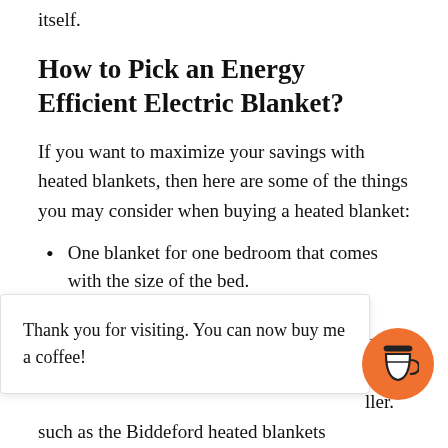the fastest the heated blanket will pay for itself.
How to Pick an Energy Efficient Electric Blanket?
If you want to maximize your savings with heated blankets, then here are some of the things you may consider when buying a heated blanket:
One blanket for one bedroom that comes with the size of the bed.
Thank you for visiting. You can now buy me a coffee!
such as the Biddeford heated blankets